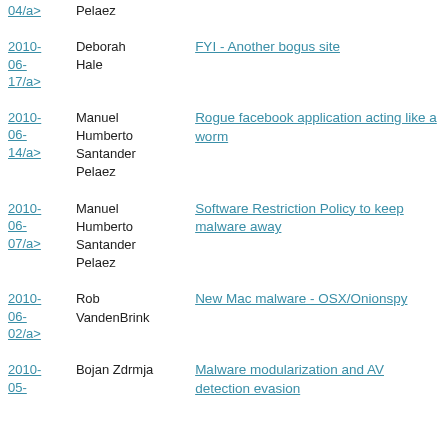| Date | Author | Title |
| --- | --- | --- |
| 04/a> | Pelaez |  |
| 2010-06-17/a> | Deborah Hale | FYI - Another bogus site |
| 2010-06-14/a> | Manuel Humberto Santander Pelaez | Rogue facebook application acting like a worm |
| 2010-06-07/a> | Manuel Humberto Santander Pelaez | Software Restriction Policy to keep malware away |
| 2010-06-02/a> | Rob VandenBrink | New Mac malware - OSX/Onionspy |
| 2010-05- | Bojan Zdrmja | Malware modularization and AV detection evasion |